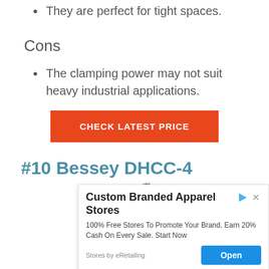They are perfect for tight spaces.
Cons
The clamping power may not suit heavy industrial applications.
CHECK LATEST PRICE
#10 Bessey DHCC-4
[Figure (photo): Partial image of the Bessey DHCC-4 clamp product, showing a copper/orange colored handle portion]
[Figure (screenshot): Advertisement overlay: Custom Branded Apparel Stores. 100% Free Stores To Promote Your Brand. Earn 20% Cash On Every Sale. Start Now. Stores by eRetailing. Open button.]